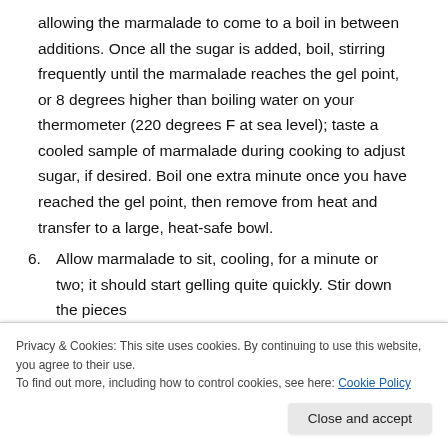allowing the marmalade to come to a boil in between additions. Once all the sugar is added, boil, stirring frequently until the marmalade reaches the gel point, or 8 degrees higher than boiling water on your thermometer (220 degrees F at sea level); taste a cooled sample of marmalade during cooking to adjust sugar, if desired. Boil one extra minute once you have reached the gel point, then remove from heat and transfer to a large, heat-safe bowl.
6. Allow marmalade to sit, cooling, for a minute or two; it should start gelling quite quickly. Stir down the pieces
Privacy & Cookies: This site uses cookies. By continuing to use this website, you agree to their use.
To find out more, including how to control cookies, see here: Cookie Policy